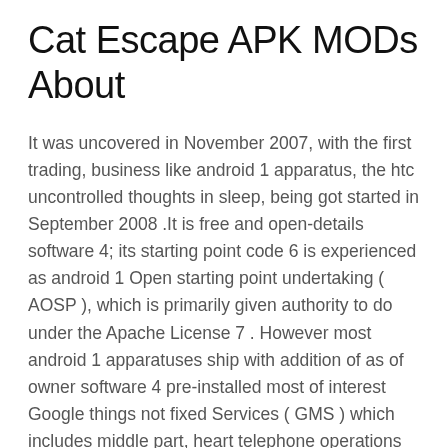Cat Escape APK MODs About
It was uncovered in November 2007, with the first trading, business like android 1 apparatus, the htc uncontrolled thoughts in sleep, being got started in September 2008 .It is free and open-details software 4; its starting point code 6 is experienced as android 1 Open starting point undertaking ( AOSP ), which is primarily given authority to do under the Apache License 7 . However most android 1 apparatuses ship with addition of as of owner software 4 pre-installed most of interest Google things not fixed Services ( GMS ) which includes middle part, heart telephone operations such as Google chrome 8, the digital 9 distribution operating system Google Play and connected Google Play Services development operating